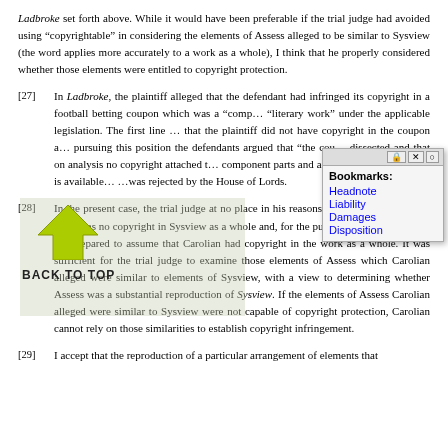Ladbroke set forth above. While it would have been preferable if the trial judge had avoided using “copyrightable” in considering the elements of Assess alleged to be similar to Sysview (the word applies more accurately to a work as a whole), I think that he properly considered whether those elements were entitled to copyright protection.
[27] In Ladbroke, the plaintiff alleged that the defendant had infringed its copyright in a football betting coupon which was a “comp… “literary work” under the applicable legislation. The first line … that the plaintiff did not have copyright in the coupon a… pursuing this position the defendants argued that “the cou… dissected and that on analysis no copyright attached t… component parts and accordingly no protection is available… …was rejected by the House of Lords.
[Figure (screenshot): Bookmarks popup overlay with titlebar buttons and links: Headnote, Liability, Damages, Disposition. Also shows a green arrow/back-to-top button overlay.]
[28] In the present case, the trial judge at no place in his reasons expressed the view that there was no copyright in Sysview as a whole and, for the purpose of these reasons, I am prepared to assume that Carolian had copyright in the work as a whole. It was sufficient for the trial judge to examine those elements of Assess which Carolian alleged were similar to elements of Sysview, with a view to determining whether Assess was a substantial reproduction of Sysview. If the elements of Assess Carolian alleged were similar to Sysview were not capable of copyright protection, Carolian cannot rely on those similarities to establish copyright infringement.
[29] I accept that the reproduction of a particular arrangement of elements that